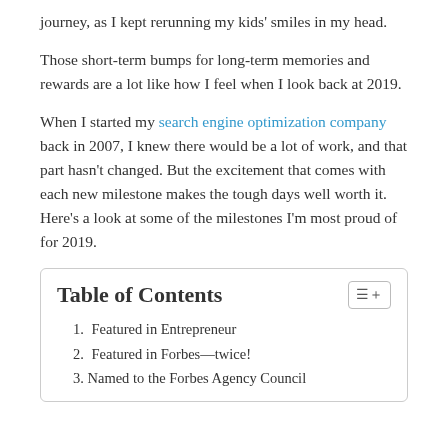journey, as I kept rerunning my kids' smiles in my head.
Those short-term bumps for long-term memories and rewards are a lot like how I feel when I look back at 2019.
When I started my search engine optimization company back in 2007, I knew there would be a lot of work, and that part hasn't changed. But the excitement that comes with each new milestone makes the tough days well worth it. Here's a look at some of the milestones I'm most proud of for 2019.
| Table of Contents |
| --- |
| 1. Featured in Entrepreneur |
| 2. Featured in Forbes—twice! |
| 3. Named to the Forbes Agency Council |